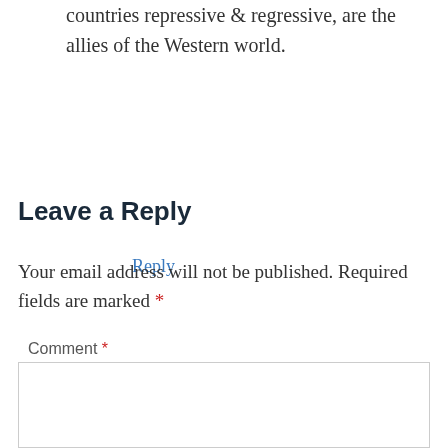countries repressive & regressive, are the allies of the Western world.
Reply
Leave a Reply
Your email address will not be published. Required fields are marked *
Comment *